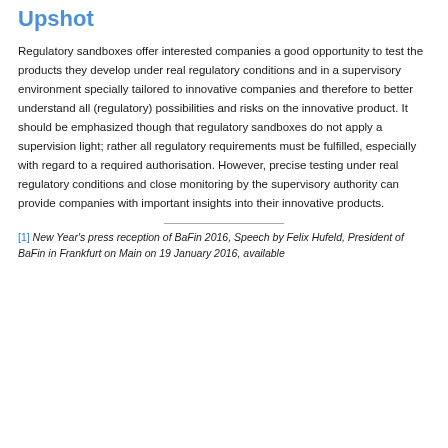Upshot
Regulatory sandboxes offer interested companies a good opportunity to test the products they develop under real regulatory conditions and in a supervisory environment specially tailored to innovative companies and therefore to better understand all (regulatory) possibilities and risks on the innovative product. It should be emphasized though that regulatory sandboxes do not apply a supervision light; rather all regulatory requirements must be fulfilled, especially with regard to a required authorisation. However, precise testing under real regulatory conditions and close monitoring by the supervisory authority can provide companies with important insights into their innovative products.
[1] New Year's press reception of BaFin 2016, Speech by Felix Hufeld, President of BaFin in Frankfurt on Main on 19 January 2016, available